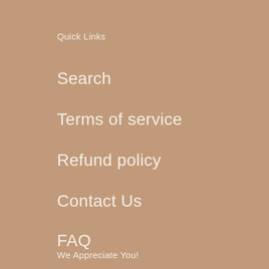Quick Links
Search
Terms of service
Refund policy
Contact Us
FAQ
We Appreciate You!